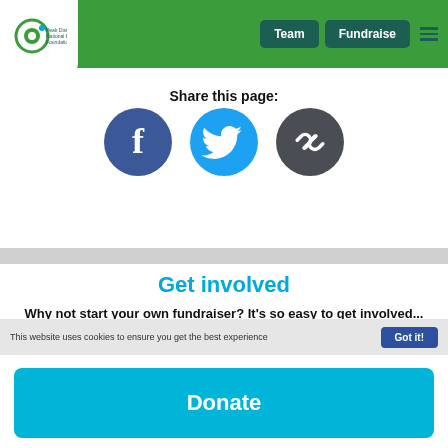[Figure (logo): Peak District National Park Foundation logo in a white box on green header]
Team
Fundraise
Share this page:
[Figure (infographic): Three social share buttons: Facebook (dark blue circle with f), Twitter (light blue circle with bird), and link (dark grey circle with chain icon)]
Get involved
Why not start your own fundraiser? It's so easy to get involved...
This website uses cookies to ensure you get the best experience
Got it!
Donate